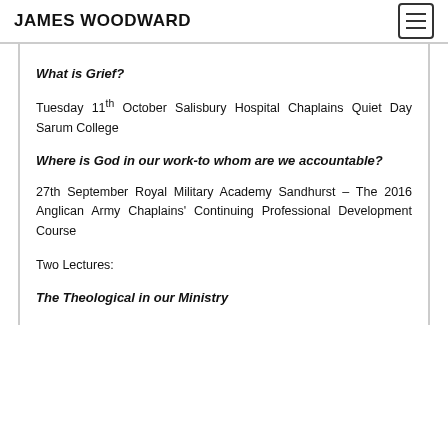JAMES WOODWARD
What is Grief?
Tuesday 11th October Salisbury Hospital Chaplains Quiet Day Sarum College
Where is God in our work-to whom are we accountable?
27th September Royal Military Academy Sandhurst – The 2016 Anglican Army Chaplains' Continuing Professional Development Course
Two Lectures:
The Theological in our Ministry